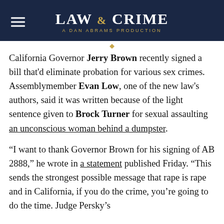LAW & CRIME — A DAN ABRAMS PRODUCTION
California Governor Jerry Brown recently signed a bill that'd eliminate probation for various sex crimes. Assemblymember Evan Low, one of the new law's authors, said it was written because of the light sentence given to Brock Turner for sexual assaulting an unconscious woman behind a dumpster.
“I want to thank Governor Brown for his signing of AB 2888,” he wrote in a statement published Friday. “This sends the strongest possible message that rape is rape and in California, if you do the crime, you’re going to do the time. Judge Persky’s